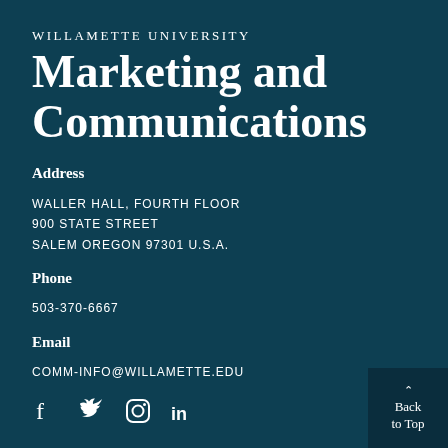WILLAMETTE UNIVERSITY
Marketing and Communications
Address
WALLER HALL, FOURTH FLOOR
900 STATE STREET
SALEM OREGON 97301 U.S.A.
Phone
503-370-6667
Email
COMM-INFO@WILLAMETTE.EDU
[Figure (illustration): Social media icons: Facebook, Twitter, Instagram, LinkedIn]
Back to Top